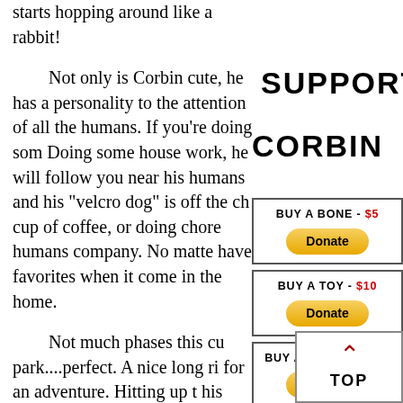starts hopping around like a rabbit!
Not only is Corbin cute, he has a personality to the attention of all the humans. If you're doing some Doing some house work, he will follow you near his humans and his "velcro dog" is off the chart cup of coffee, or doing chores humans company. No matter have favorites when it comes in the home.
SUPPORT
CORBIN
BUY A BONE - $5 Donate
BUY A TOY - $10 Donate
BUY A COLLAR - $20 Donate
DONATE ANY AMOUNT Donate
Not much phases this cute park....perfect. A nice long ride for an adventure. Hitting up his young stamina well that's nap time you are sure to find him curled nose work games around the house
TOP